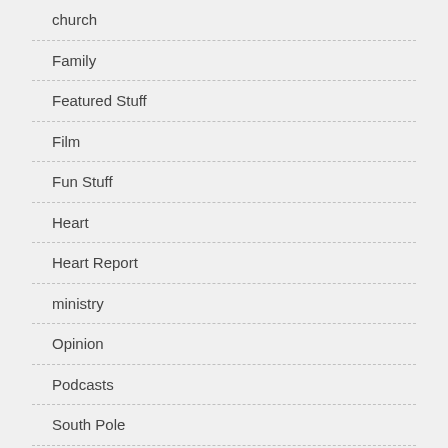church
Family
Featured Stuff
Film
Fun Stuff
Heart
Heart Report
ministry
Opinion
Podcasts
South Pole